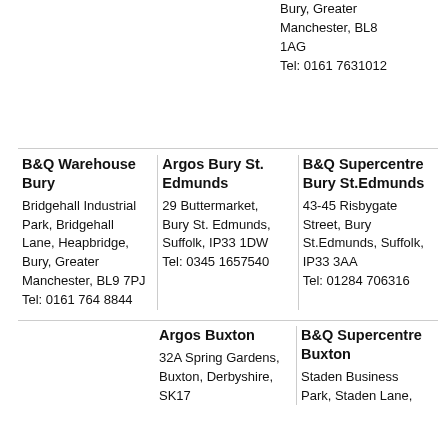Bury, Greater Manchester, BL8 1AG
Tel: 0161 7631012
B&Q Warehouse Bury
Bridgehall Industrial Park, Bridgehall Lane, Heapbridge, Bury, Greater Manchester, BL9 7PJ
Tel: 0161 764 8844
Argos Bury St. Edmunds
29 Buttermarket, Bury St. Edmunds, Suffolk, IP33 1DW
Tel: 0345 1657540
B&Q Supercentre Bury St.Edmunds
43-45 Risbygate Street, Bury St.Edmunds, Suffolk, IP33 3AA
Tel: 01284 706316
Argos Buxton
32A Spring Gardens, Buxton, Derbyshire, SK17
B&Q Supercentre Buxton
Staden Business Park, Staden Lane,